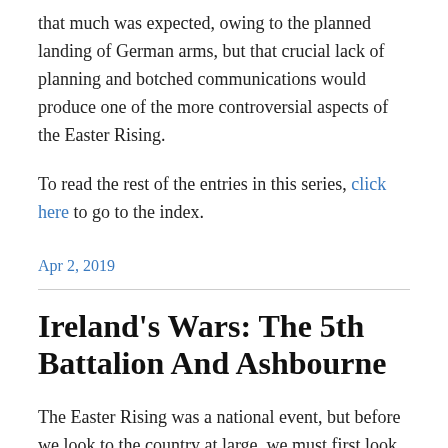that much was expected, owing to the planned landing of German arms, but that crucial lack of planning and botched communications would produce one of the more controversial aspects of the Easter Rising.
To read the rest of the entries in this series, click here to go to the index.
Apr 2, 2019
Ireland’s Wars: The 5th Battalion And Ashbourne
The Easter Rising was a national event, but before we look to the country at large, we must first look at the events that took place within County Dublin, but outside of